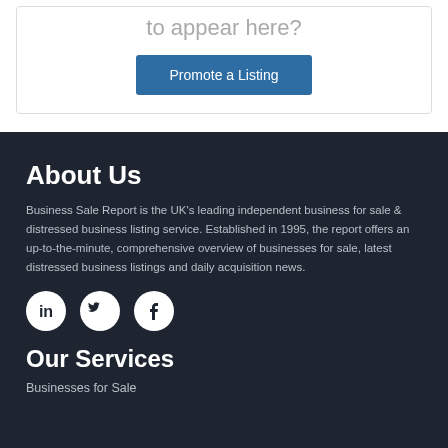to appear here?
Promote a Listing
About Us
Business Sale Report is the UK's leading independent business for sale & distressed business listing service. Established in 1995, the report offers an up-to-the-minute, comprehensive overview of businesses for sale, latest distressed business listings and daily acquisition news.
[Figure (illustration): Three social media icons: LinkedIn, Twitter, Facebook — white icons on white circular backgrounds on dark background]
Our Services
Businesses for Sale